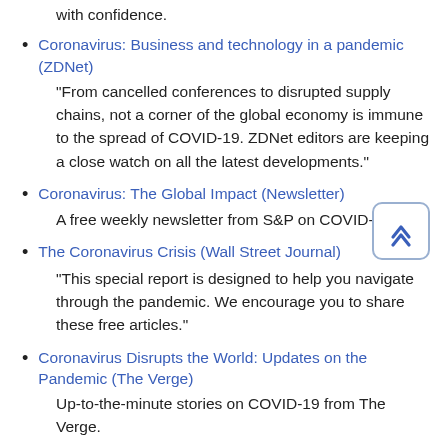with confidence.
Coronavirus: Business and technology in a pandemic (ZDNet)
"From cancelled conferences to disrupted supply chains, not a corner of the global economy is immune to the spread of COVID-19. ZDNet editors are keeping a close watch on all the latest developments."
Coronavirus: The Global Impact (Newsletter)
A free weekly newsletter from S&P on COVID-19.
The Coronavirus Crisis (Wall Street Journal)
"This special report is designed to help you navigate through the pandemic. We encourage you to share these free articles."
Coronavirus Disrupts the World: Updates on the Pandemic (The Verge)
Up-to-the-minute stories on COVID-19 from The Verge.
COVID-19 (Congressional Research Service)
Coronavirus resources from the Congressional Research Service, also known as "Congress's Think Tank."
COVID-19 (Gallup)
Gallup articles on COVID-19 with varying emphases (political...